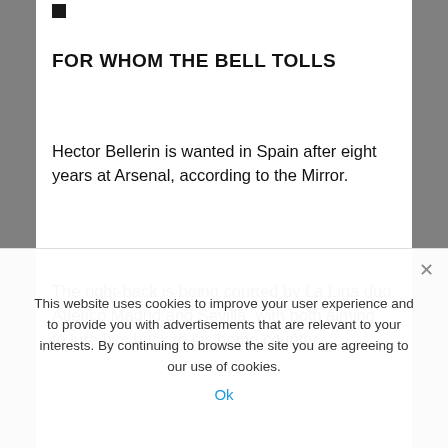FOR WHOM THE BELL TOLLS
Hector Bellerin is wanted in Spain after eight years at Arsenal, according to the Mirror.
The right-back is being courted by La Liga duo Atletico Madrid and Sevilla, with both aiming to lure him back to his home country.
Bellerin is a popular figure at the Emirates, but with both Spanish sides having a greater chance of Champions League football than the Gunners, they will be honing an ambitious bid for the former Barcelona
This website uses cookies to improve your user experience and to provide you with advertisements that are relevant to your interests. By continuing to browse the site you are agreeing to our use of cookies.
Ok